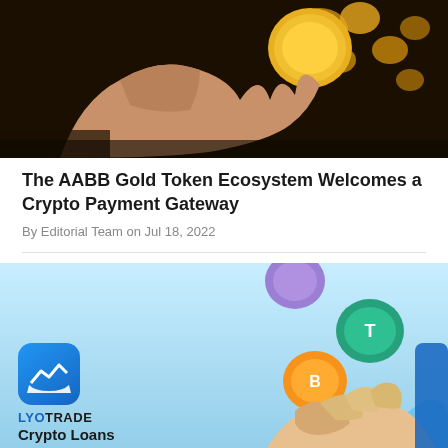[Figure (photo): A hand holding a gold cryptocurrency coin above scattered gold coins on dark background]
The AABB Gold Token Ecosystem Welcomes a Crypto Payment Gateway
By Editorial Team on Jul 18, 2022
[Figure (photo): LYOTRADE Crypto Loans promotional banner with blue background, LYOTRADE app logo, 3D hand catching crypto coins (Bitcoin, USDT, and others)]
LYOTRADE Launches Crypto Loans – Get USDT and Win Against Volatility